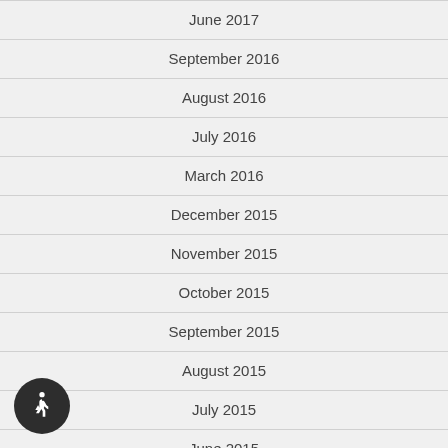June 2017
September 2016
August 2016
July 2016
March 2016
December 2015
November 2015
October 2015
September 2015
August 2015
July 2015
June 2015
May 2015
[Figure (illustration): Accessibility icon button — wheelchair symbol on dark circular background]